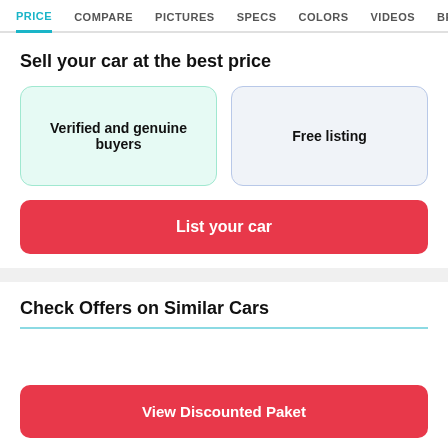PRICE  COMPARE  PICTURES  SPECS  COLORS  VIDEOS  BROCHUR
Sell your car at the best price
Verified and genuine buyers
Free listing
List your car
Check Offers on Similar Cars
View Discounted Paket